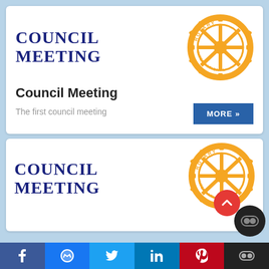[Figure (logo): Rotary International gear wheel logo in gold/orange color with text ROTARY and INTERNATIONAL around the wheel]
COUNCIL MEETING
Council Meeting
The first council meeting
MORE »
[Figure (logo): Rotary International gear wheel logo in gold/orange color with text ROTARY and INTERNATIONAL around the wheel (second card)]
COUNCIL MEETING
f  [messenger]  [twitter]  in  P  [co]